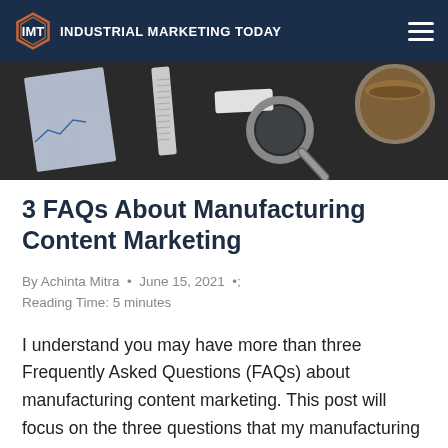INDUSTRIAL MARKETING TODAY
[Figure (photo): Dark desk scene with magnifying glass, notebook with graph paper, ruler, eraser, and a cup of coffee/tea viewed from above]
3 FAQs About Manufacturing Content Marketing
By Achinta Mitra  •  June 15, 2021  •
Reading Time: 5 minutes
I understand you may have more than three Frequently Asked Questions (FAQs) about manufacturing content marketing. This post will focus on the three questions that my manufacturing clients ask me most often. To validate my own experiences, I'll refer to research findings from the report